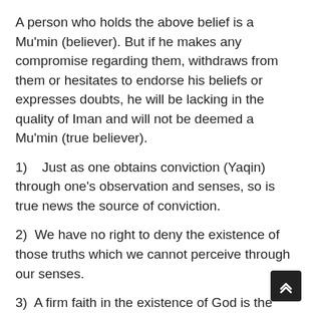A person who holds the above belief is a Mu'min (believer). But if he makes any compromise regarding them, withdraws from them or hesitates to endorse his beliefs or expresses doubts, he will be lacking in the quality of Iman and will not be deemed a Mu'min (true believer).
1)   Just as one obtains conviction (Yaqin) through one's observation and senses, so is true news the source of conviction.
2)  We have no right to deny the existence of those truths which we cannot perceive through our senses.
3)  A firm faith in the existence of God is the natural nucleus of and is concentrated in the human nature.
4)  There is a spiritual world at the back of this material world, which we cannot perceive.